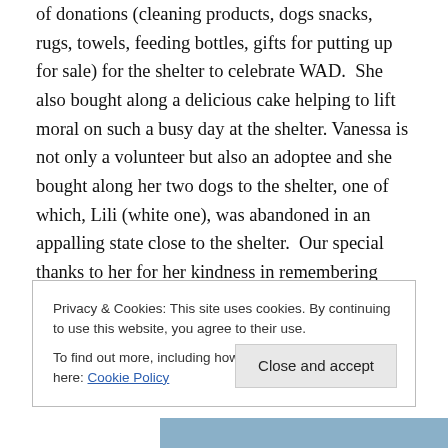of donations (cleaning products, dogs snacks, rugs, towels, feeding bottles, gifts for putting up for sale) for the shelter to celebrate WAD.  She also bought along a delicious cake helping to lift moral on such a busy day at the shelter. Vanessa is not only a volunteer but also an adoptee and she bought along her two dogs to the shelter, one of which, Lili (white one), was abandoned in an appalling state close to the shelter.  Our special thanks to her for her kindness in remembering us.   Photos below of Vanessa and her dogs and with Paulo, Aanifeira's shelter manager.
Privacy & Cookies: This site uses cookies. By continuing to use this website, you agree to their use.
To find out more, including how to control cookies, see here: Cookie Policy
[Figure (photo): Bottom portion of a photo strip showing people and dogs at the shelter]